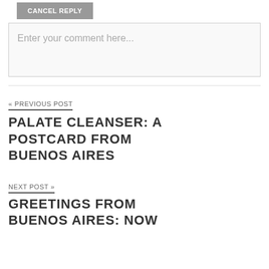CANCEL REPLY
Enter your comment here...
« PREVIOUS POST
PALATE CLEANSER: A POSTCARD FROM BUENOS AIRES
NEXT POST »
GREETINGS FROM BUENOS AIRES: NOW